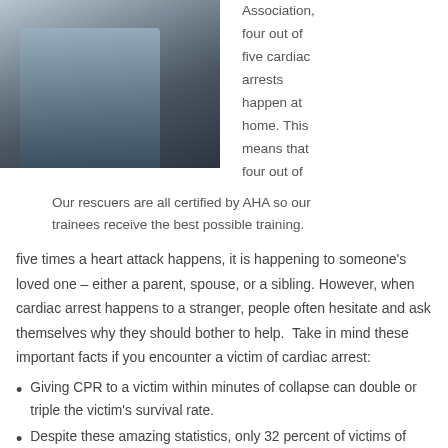[Figure (photo): A person performing CPR or assisting someone, photographed indoors with a dark floor and background.]
Association, four out of five cardiac arrests happen at home. This means that four out of
Our rescuers are all certified by AHA so our trainees receive the best possible training.
five times a heart attack happens, it is happening to someone's loved one – either a parent, spouse, or a sibling. However, when cardiac arrest happens to a stranger, people often hesitate and ask themselves why they should bother to help. Take in mind these important facts if you encounter a victim of cardiac arrest:
Giving CPR to a victim within minutes of collapse can double or triple the victim's survival rate.
Despite these amazing statistics, only 32 percent of victims of cardiac arrest receive CPR from a bystander and only 8